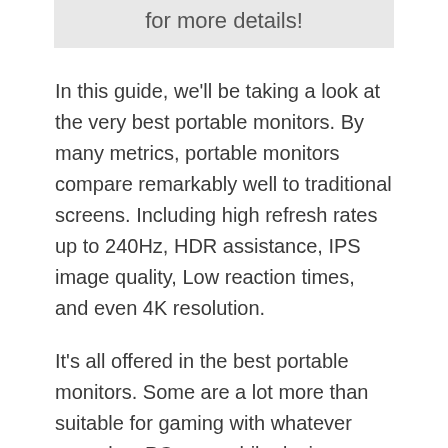[Figure (other): Gray banner box with text 'for more details!']
In this guide, we'll be taking a look at the very best portable monitors. By many metrics, portable monitors compare remarkably well to traditional screens. Including high refresh rates up to 240Hz, HDR assistance, IPS image quality, Low reaction times, and even 4K resolution.
It's all offered in the best portable monitors. Some are a lot more than suitable for gaming with whatever consoles, PCs or mobile devices you use. This is in part thanks to the versatility of the most recent user interfaces and USB-C.
To video games with these cutting-edge functions